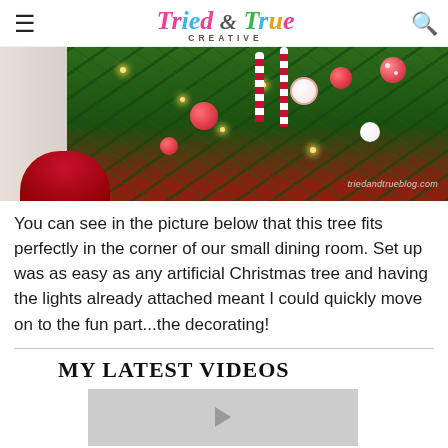Tried & True Creative
[Figure (photo): Christmas tree decorated with red ornaments, candy canes, white ornaments, and lights in a room corner. Watermark: triedandtrueblog.com]
You can see in the picture below that this tree fits perfectly in the corner of our small dining room. Set up was as easy as any artificial Christmas tree and having the lights already attached meant I could quickly move on to the fun part...the decorating!
MY LATEST VIDEOS
[Figure (screenshot): Video thumbnail placeholder (gray)]